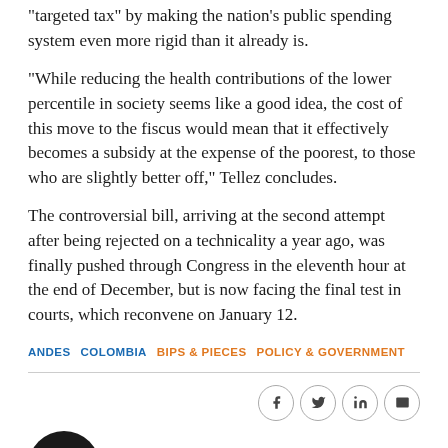“targeted tax” by making the nation’s public spending system even more rigid than it already is.
“While reducing the health contributions of the lower percentile in society seems like a good idea, the cost of this move to the fiscus would mean that it effectively becomes a subsidy at the expense of the poorest, to those who are slightly better off,” Tellez concludes.
The controversial bill, arriving at the second attempt after being rejected on a technicality a year ago, was finally pushed through Congress in the eleventh hour at the end of December, but is now facing the final test in courts, which reconvene on January 12.
ANDES   COLOMBIA   BIPS & PIECES   POLICY & GOVERNMENT
Bonds & Loans is a trusted provider